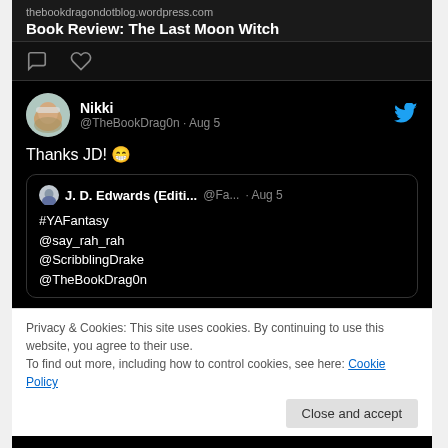thebookdragondotblog.wordpress.com
Book Review: The Last Moon Witch
[Figure (screenshot): Twitter/X engagement icons: comment bubble and heart icon on dark background]
[Figure (screenshot): Tweet from Nikki @TheBookDrag0n · Aug 5 saying 'Thanks JD! 😁' with a quoted tweet from J. D. Edwards (Editi... @Fa... · Aug 5 mentioning #YAFantasy @say_rah_rah @ScribblingDrake @TheBookDrag0n]
Privacy & Cookies: This site uses cookies. By continuing to use this website, you agree to their use.
To find out more, including how to control cookies, see here: Cookie Policy
Close and accept